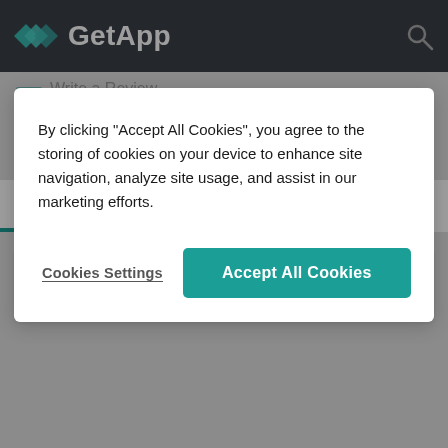GetApp
[Figure (screenshot): Partially visible background page with VISIT WEBSITE teal button, navigation tabs (Overview, Images, Features, Alter...), and About MicroBiz Cloud POS section]
By clicking “Accept All Cookies”, you agree to the storing of cookies on your device to enhance site navigation, analyze site usage, and assist in our marketing efforts.
Cookies Settings
Accept All Cookies
VISIT WEBSITE
Overview
Images
Features
Alter
About MicroBiz Cloud POS
MicroBiz Cloud is POS and retail automation